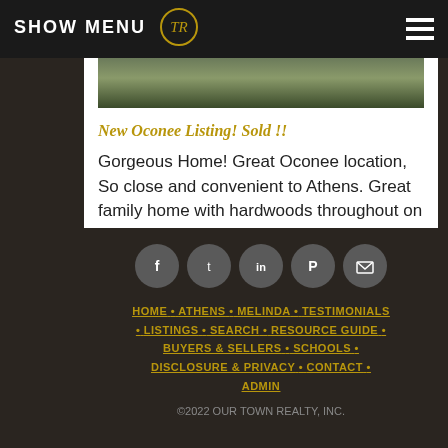SHOW MENU
[Figure (photo): Outdoor landscape photo of a home with mulch and shrubs, cropped at top of card]
New Oconee Listing! Sold !!
Gorgeous Home! Great Oconee location, So close and convenient to Athens. Great family home with hardwoods throughout on the main... Read more →
[Figure (other): Footer social media icons: Facebook, Twitter, LinkedIn, Pinterest, Email]
HOME • ATHENS • MELINDA • TESTIMONIALS • LISTINGS • SEARCH • RESOURCE GUIDE • BUYERS & SELLERS • SCHOOLS • DISCLOSURE & PRIVACY • CONTACT • ADMIN
©2022 OUR TOWN REALTY, INC.